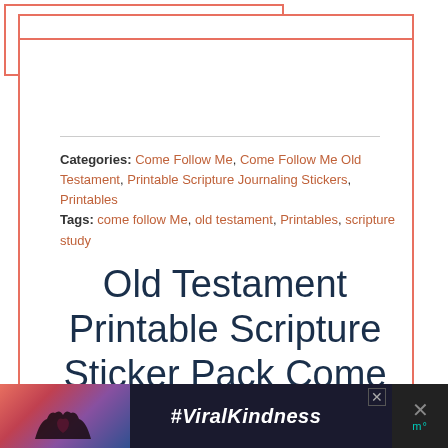Categories: Come Follow Me, Come Follow Me Old Testament, Printable Scripture Journaling Stickers, Printables
Tags: come follow Me, old testament, Printables, scripture study
Old Testament Printable Scripture Sticker Pack Come Follow Me 2022
[Figure (infographic): Advertisement banner with heart-hands silhouette photo, #ViralKindness text, close button, and logo]